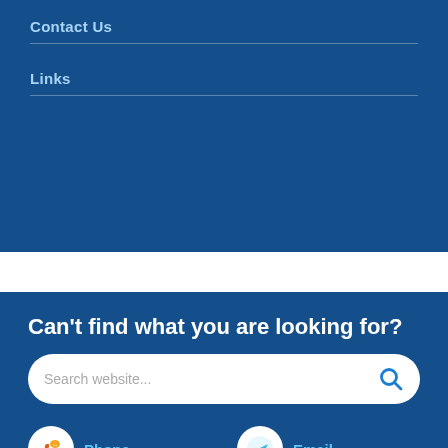Contact Us
Links
Can't find what you are looking for?
[Figure (screenshot): Search bar with placeholder text 'Search website...' and a blue search icon on the right, on a white rounded rectangle background.]
Phone
Email